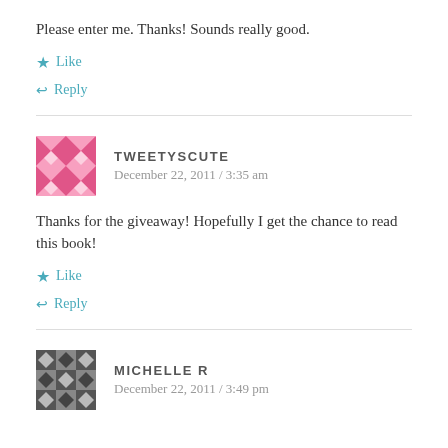Please enter me. Thanks! Sounds really good.
★ Like
↩ Reply
TWEETYSCUTE
December 22, 2011 / 3:35 am
Thanks for the giveaway! Hopefully I get the chance to read this book!
★ Like
↩ Reply
MICHELLE R
December 22, 2011 / 3:49 pm